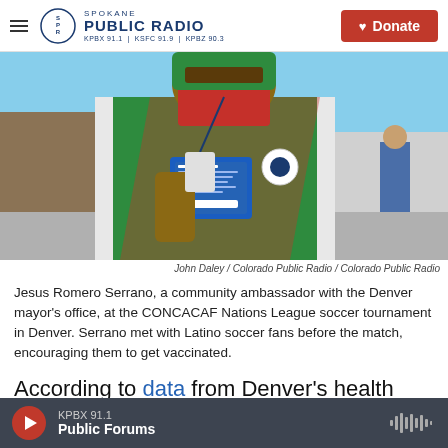Spokane Public Radio — KPBX 91.1 | KSFC 91.9 | KPBZ 90.3 — Donate
[Figure (photo): A man wearing a green Mexico soccer jersey and a face mask holds up a small blue card (vaccination information card) outdoors near a stadium on a sunny day.]
John Daley / Colorado Public Radio / Colorado Public Radio
Jesus Romero Serrano, a community ambassador with the Denver mayor's office, at the CONCACAF Nations League soccer tournament in Denver. Serrano met with Latino soccer fans before the match, encouraging them to get vaccinated.
According to data from Denver's health agencies
KPBX 91.1 — Public Forums